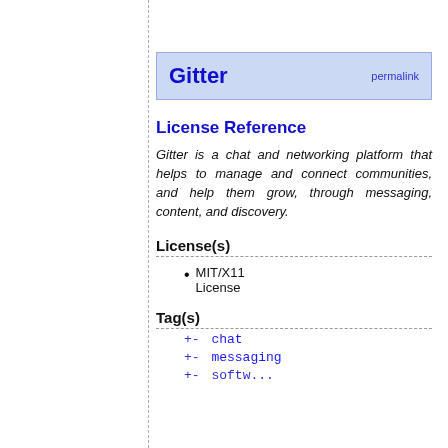Gitter  permalink
License Reference
Gitter is a chat and networking platform that helps to manage and connect communities, and help them grow, through messaging, content, and discovery.
License(s)
MIT/X11 License
Tag(s)
+ - chat
+ - messaging
+ - software